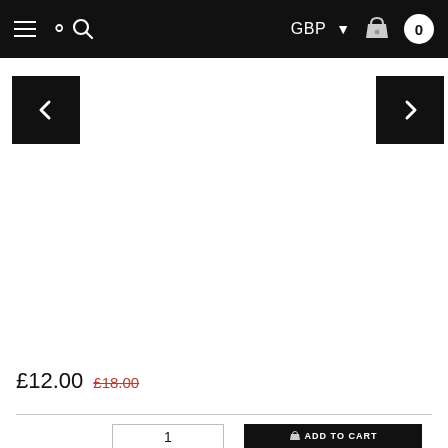≡ 🔍  GBP ▾ 🛒 0
[Figure (screenshot): Product image carousel area with left arrow (‹) and right arrow (›) navigation buttons on black square backgrounds]
£12.00  £18.00
1  ADD TO CART